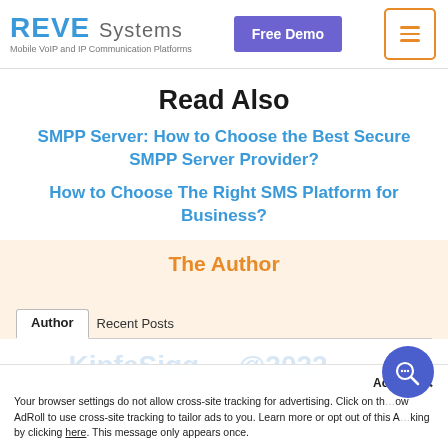REVE Systems — Mobile VoIP and IP Communication Platforms | Free Demo
Read Also
SMPP Server: How to Choose the Best Secure SMPP Server Provider?
How to Choose The Right SMS Platform for Business?
The Author
Author | Recent Posts
Your browser settings do not allow cross-site tracking for advertising. Click on this to allow AdRoll to use cross-site tracking to tailor ads to you. Learn more or opt out of this AdRoll tracking by clicking here. This message only appears once.